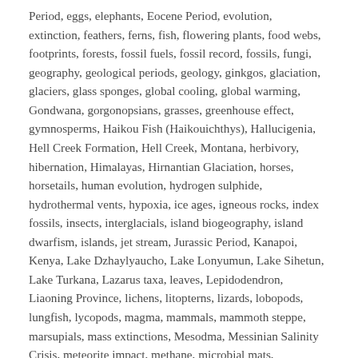Period, eggs, elephants, Eocene Period, evolution, extinction, feathers, ferns, fish, flowering plants, food webs, footprints, forests, fossil fuels, fossil record, fossils, fungi, geography, geological periods, geology, ginkgos, glaciation, glaciers, glass sponges, global cooling, global warming, Gondwana, gorgonopsians, grasses, greenhouse effect, gymnosperms, Haikou Fish (Haikouichthys), Hallucigenia, Hell Creek Formation, Hell Creek, Montana, herbivory, hibernation, Himalayas, Hirnantian Glaciation, horses, horsetails, human evolution, hydrogen sulphide, hydrothermal vents, hypoxia, ice ages, igneous rocks, index fossils, insects, interglacials, island biogeography, island dwarfism, islands, jet stream, Jurassic Period, Kanapoi, Kenya, Lake Dzhaylyaucho, Lake Lonyumun, Lake Sihetun, Lake Turkana, Lazarus taxa, leaves, Lepidodendron, Liaoning Province, lichens, litopterns, lizards, lobopods, lungfish, lycopods, magma, mammals, mammoth steppe, marsupials, mass extinctions, Mesodma, Messinian Salinity Crisis, meteorite impact, methane, microbial mats, migration, Miocene, Miocene Epoch, molluscs, magnetic,